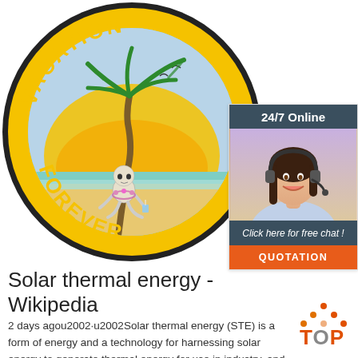[Figure (illustration): Circular embroidered patch with 'VACATION FOREVER' text and a skeleton sitting on a beach under a palm tree with a sunset background]
[Figure (infographic): 24/7 Online chat widget with a photo of a smiling woman with headset, 'Click here for free chat!' text, and an orange QUOTATION button]
Solar thermal energy - Wikipedia
2 days agou2002·u2002Solar thermal energy (STE) is a form of energy and a technology for harnessing solar energy to generate thermal energy for use in industry, and in the residential and commercial sectors.. Solar thermal collectors
[Figure (logo): TOP logo with orange dots arranged in triangle above the word TOP in orange and red]